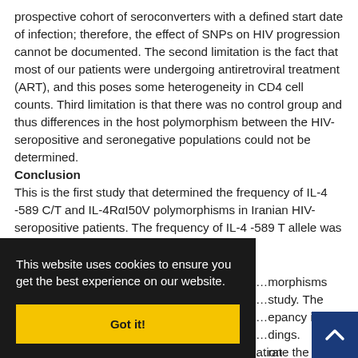prospective cohort of seroconverters with a defined start date of infection; therefore, the effect of SNPs on HIV progression cannot be documented. The second limitation is the fact that most of our patients were undergoing antiretroviral treatment (ART), and this poses some heterogeneity in CD4 cell counts. Third limitation is that there was no control group and thus differences in the host polymorphism between the HIV-seropositive and seronegative populations could not be determined.
Conclusion
This is the first study that determined the frequency of IL-4 -589 C/T and IL-4RαI50V polymorphisms in Iranian HIV-seropositive patients. The frequency of IL-4 -589 T allele was more in line with previous reports on the …morphisms …study. The …epancy in …dings. …rate the …tests for …r respons… to different medicines. Therefore, more population-
This website uses cookies to ensure you get the best experience on our website.
Got it!